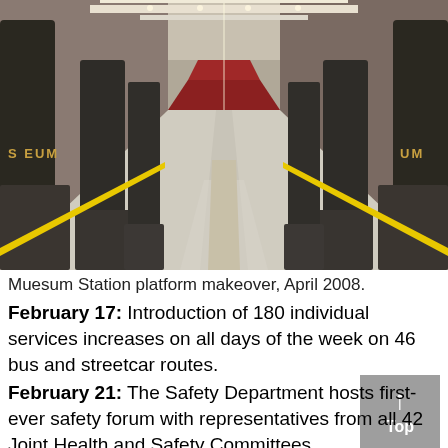[Figure (photo): Interior of Museum Station subway platform showing long corridor with decorated dark pillars, yellow edge markings on platform floor, and red accent walls in the background. Photo taken April 2008.]
Muesum Station platform makeover, April 2008.
February 17: Introduction of 180 individual services increases on all days of the week on 46 bus and streetcar routes.
February 21: The Safety Department hosts first-ever safety forum with representatives from all 42 Joint Health and Safety Committees.